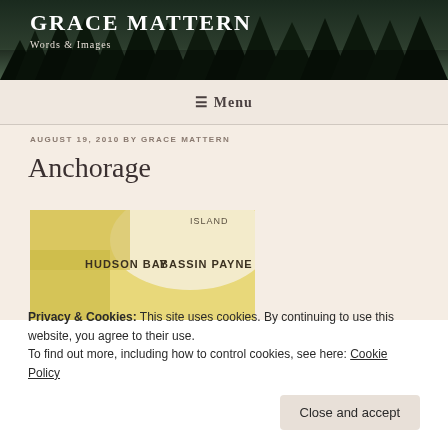GRACE MATTERN
Words & Images
≡ Menu
AUGUST 19, 2010 BY GRACE MATTERN
Anchorage
[Figure (photo): Partial map image showing text HUDSON BAY and BASSIN PAYNE on a yellow/cream colored map]
Privacy & Cookies: This site uses cookies. By continuing to use this website, you agree to their use.
To find out more, including how to control cookies, see here: Cookie Policy
Close and accept